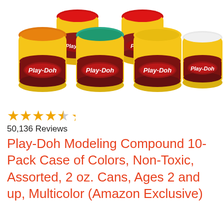[Figure (photo): Four yellow Play-Doh cans with different colored lids (orange, teal/green, yellow, white) arranged in a row, with more cans visible behind them. Each can shows the Play-Doh logo on a red badge against the yellow can body.]
★★★★½
50,136 Reviews
Play-Doh Modeling Compound 10-Pack Case of Colors, Non-Toxic, Assorted, 2 oz. Cans, Ages 2 and up, Multicolor (Amazon Exclusive)